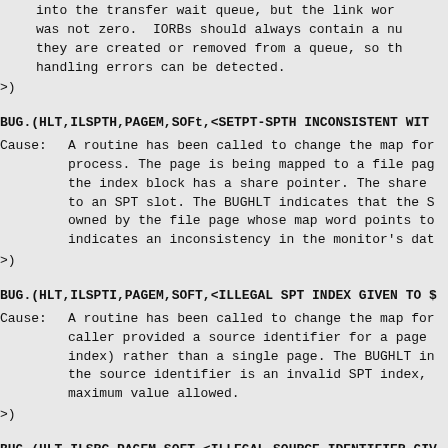into the transfer wait queue, but the link word was not zero.  IORBs should always contain a null link word when they are created or removed from a queue, so that handling errors can be detected.
>)
BUG.(HLT,ILSPTH,PAGEM,SOFt,<SETPT-SPTH INCONSISTENT WITH...
Cause:  A routine has been called to change the map for a process. The page is being mapped to a file page, the index block has a share pointer. The share points to an SPT slot. The BUGHLT indicates that the SPT slot owned by the file page whose map word points to it indicates an inconsistency in the monitor's data.
>)
BUG.(HLT,ILSPTI,PAGEM,SOFT,<ILLEGAL SPT INDEX GIVEN TO S...
Cause:  A routine has been called to change the map for a caller provided a source identifier for a page (index) rather than a single page. The BUGHLT indicates the source identifier is an invalid SPT index, maximum value allowed.
>)
BUG.(HLT,ILSRC,PAGEM,SOFT,<ILLEGAL SOURCE IDENTIFIER GIV...
Cause:  A routine has been called to change the map for...